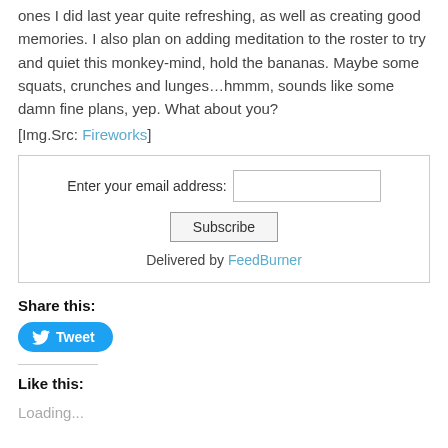ones I did last year quite refreshing, as well as creating good memories. I also plan on adding meditation to the roster to try and quiet this monkey-mind, hold the bananas. Maybe some squats, crunches and lunges…hmmm, sounds like some damn fine plans, yep. What about you?
[Img.Src: Fireworks]
Enter your email address: [input] Subscribe Delivered by FeedBurner
Share this:
Tweet
Like this:
Loading...